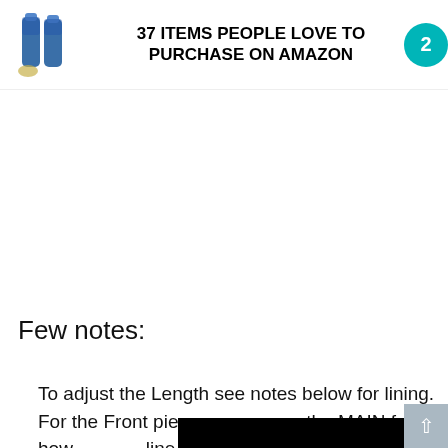[Figure (infographic): Banner advertisement showing two blue bottles and text '37 ITEMS PEOPLE LOVE TO PURCHASE ON AMAZON' with a teal circular badge with number 2]
Few notes:
To adjust the Length see notes below for lining.
For the Front piece you cut 1 in the MAIN fabric how... line and 2 at the oute...
Reverse one simply means you need the 2 cut pieces to be mirror images of each other. You can do this by cutting two at the same time with your fabric folded so the right sides are together.
If you...